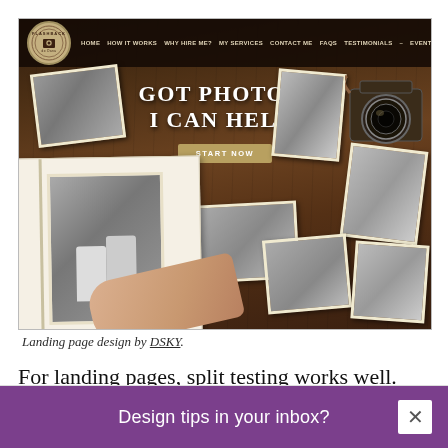[Figure (screenshot): Website screenshot of 'Flashback' photography landing page with dark wood background, scattered black-and-white vintage photos, an old camera, a photo album being held open, navigation bar with links (HOME, HOW IT WORKS, WHY HIRE ME?, MY SERVICES, CONTACT ME, FAQS, TESTIMONIALS, EVENTS), large headline text 'GOT PHOTOS? I CAN HELP!' and a 'START NOW' button.]
Landing page design by DSKY.
For landing pages, split testing works well. Also known as A/B tests, split tests show two
Design tips in your inbox?